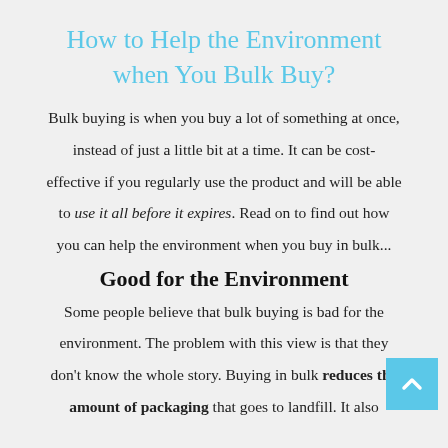How to Help the Environment when You Bulk Buy?
Bulk buying is when you buy a lot of something at once, instead of just a little bit at a time. It can be cost-effective if you regularly use the product and will be able to use it all before it expires. Read on to find out how you can help the environment when you buy in bulk...
Good for the Environment
Some people believe that bulk buying is bad for the environment. The problem with this view is that they don't know the whole story. Buying in bulk reduces the amount of packaging that goes to landfill. It also